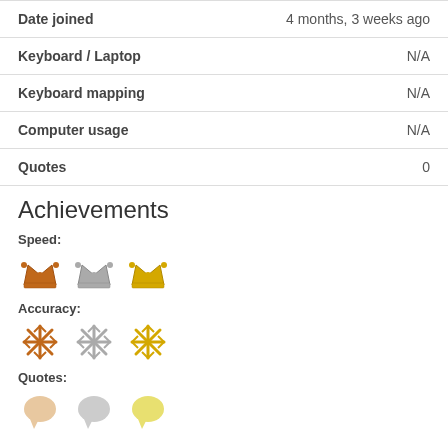| Date joined | 4 months, 3 weeks ago |
| Keyboard / Laptop | N/A |
| Keyboard mapping | N/A |
| Computer usage | N/A |
| Quotes | 0 |
Achievements
Speed:
[Figure (illustration): Three crown badges: orange, gray, yellow for Speed achievements]
Accuracy:
[Figure (illustration): Three snowflake badges: orange, gray, yellow for Accuracy achievements]
Quotes:
[Figure (illustration): Three speech bubble badges: orange/tan, gray, yellow for Quotes achievements]